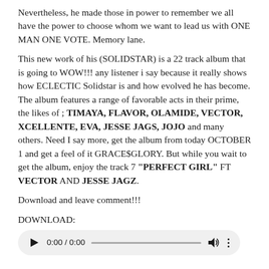Nevertheless, he made those in power to remember we all have the power to choose whom we want to lead us with ONE MAN ONE VOTE. Memory lane.
This new work of his (SOLIDSTAR) is a 22 track album that is going to WOW!!! any listener i say because it really shows how ECLECTIC Solidstar is and how evolved he has become. The album features a range of favorable acts in their prime, the likes of ; TIMAYA, FLAVOR, OLAMIDE, VECTOR, XCELLENTE, EVA, JESSE JAGS, JOJO and many others. Need I say more, get the album from today OCTOBER 1 and get a feel of it GRACE$GLORY. But while you wait to get the album, enjoy the track 7 "PERFECT GIRL" FT VECTOR AND JESSE JAGZ.
Download and leave comment!!!
DOWNLOAD:
[Figure (other): Audio player widget showing play button, time display 0:00 / 0:00, progress bar, volume icon, and more options icon]